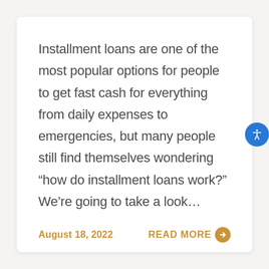Installment loans are one of the most popular options for people to get fast cash for everything from daily expenses to emergencies, but many people still find themselves wondering “how do installment loans work?” We’re going to take a look…
August 18, 2022
READ MORE